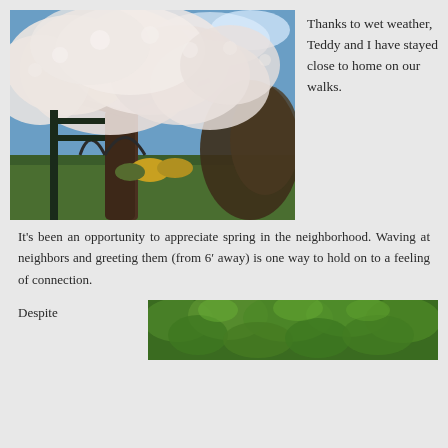[Figure (photo): Cherry blossom tree in full bloom with white/pink flowers against a blue sky, with a garden arch visible beneath the branches and colorful plants in the background.]
Thanks to wet weather, Teddy and I have stayed close to home on our walks.  It's been an opportunity to appreciate spring in the neighborhood. Waving at neighbors and greeting them (from 6’ away) is one way to hold on to a feeling of connection.
Despite
[Figure (photo): Green leafy plants and foliage, partially visible at the bottom of the page.]